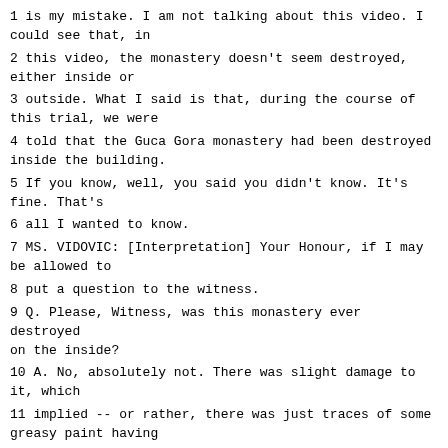1 is my mistake. I am not talking about this video. I could see that, in
2 this video, the monastery doesn't seem destroyed, either inside or
3 outside. What I said is that, during the course of this trial, we were
4 told that the Guca Gora monastery had been destroyed inside the building.
5 If you know, well, you said you didn't know. It's fine. That's
6 all I wanted to know.
7 MS. VIDOVIC: [Interpretation] Your Honour, if I may be allowed to
8 put a question to the witness.
9 Q. Please, Witness, was this monastery ever destroyed on the inside?
10 A. No, absolutely not. There was slight damage to it, which
11 implied -- or rather, there was just traces of some greasy paint having